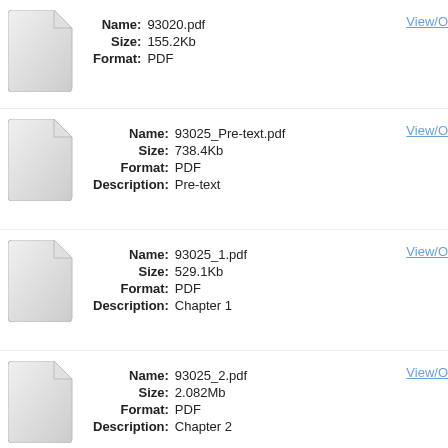Name: 93020.pdf Size: 155.2Kb Format: PDF
Name: 93025_Pre-text.pdf Size: 738.4Kb Format: PDF Description: Pre-text
Name: 93025_1.pdf Size: 529.1Kb Format: PDF Description: Chapter 1
Name: 93025_2.pdf Size: 2.082Mb Format: PDF Description: Chapter 2
Name: 93025_3.pdf ...